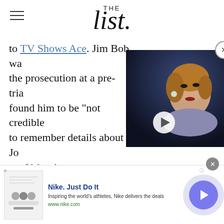THE list
to TV Shows Ace. Jim Bob wa... the prosecution at a pre-tria... found him to be "not credible... to remember details about Jo... per Yahoo!.
[Figure (screenshot): Video player thumbnail showing a woman's face against dark blue background with white play button]
[Figure (screenshot): Nike advertisement banner: Nike. Just Do It. Inspiring the world's athletes, Nike delivers the deals. www.nike.com]